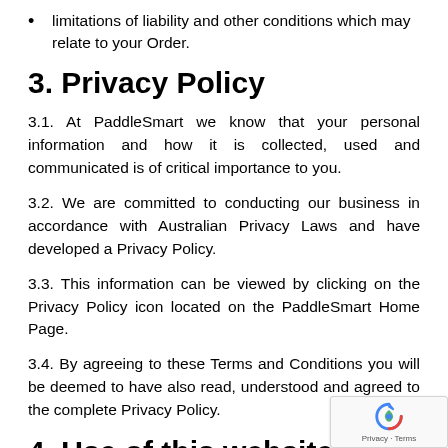limitations of liability and other conditions which may relate to your Order.
3. Privacy Policy
3.1. At PaddleSmart we know that your personal information and how it is collected, used and communicated is of critical importance to you.
3.2. We are committed to conducting our business in accordance with Australian Privacy Laws and have developed a Privacy Policy.
3.3. This information can be viewed by clicking on the Privacy Policy icon located on the PaddleSmart Home Page.
3.4. By agreeing to these Terms and Conditions you will be deemed to have also read, understood and agreed to the complete Privacy Policy.
4. Use of this website